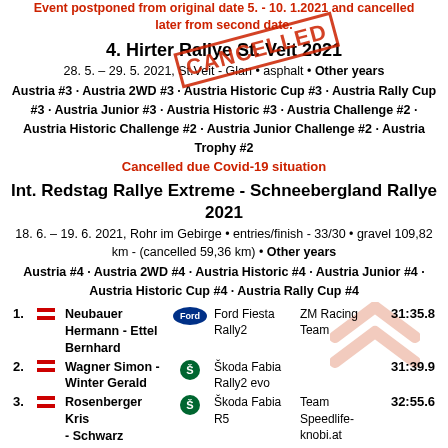Event postponed from original date 5. - 10. 1.2021 and cancelled later from second date.
4. Hirter Rallye St. Veit 2021
28. 5. – 29. 5. 2021, St.Veit - Glan • asphalt • Other years
Austria #3 · Austria 2WD #3 · Austria Historic Cup #3 · Austria Rally Cup #3 · Austria Junior #3 · Austria Historic #3 · Austria Challenge #2 · Austria Historic Challenge #2 · Austria Junior Challenge #2 · Austria Trophy #2
Cancelled due Covid-19 situation
Int. Redstag Rallye Extreme - Schneebergland Rallye 2021
18. 6. – 19. 6. 2021, Rohr im Gebirge • entries/finish - 33/30 • gravel 109,82 km - (cancelled 59,36 km) • Other years
Austria #4 · Austria 2WD #4 · Austria Historic #4 · Austria Junior #4 · Austria Historic Cup #4 · Austria Rally Cup #4
| Pos | Flag | Driver | Car Logo | Car | Team | Time |
| --- | --- | --- | --- | --- | --- | --- |
| 1. | AUT | Neubauer Hermann - Ettel Bernhard | Ford | Ford Fiesta Rally2 | ZM Racing Team | 31:35.8 |
| 2. | AUT | Wagner Simon - Winter Gerald | Skoda | Škoda Fabia Rally2 evo |  | 31:39.9 |
| 3. | AUT | Rosenberger Kris - Schwarz Siegfried | Skoda | Škoda Fabia R5 | Team Speedlife-knobi.at | 32:55.6 |